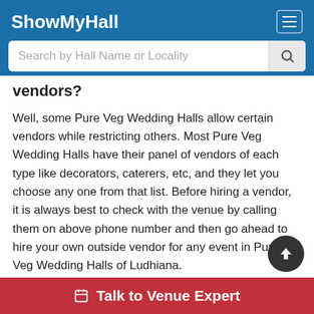ShowMyHall
vendors?
Well, some Pure Veg Wedding Halls allow certain vendors while restricting others. Most Pure Veg Wedding Halls have their panel of vendors of each type like decorators, caterers, etc, and they let you choose any one from that list. Before hiring a vendor, it is always best to check with the venue by calling them on above phone number and then go ahead to hire your own outside vendor for any event in Pure Veg Wedding Halls of Ludhiana.
Do Venue prices in Pure Veg Wedding Halls in Ludhiana include decoration cost?
The Pure Veg Wedding Halls in Ludhiana provide both types of packages. In one package, these Pure Veg Wedding offer these are white decoration both their in-l
Talk to Venue Expert